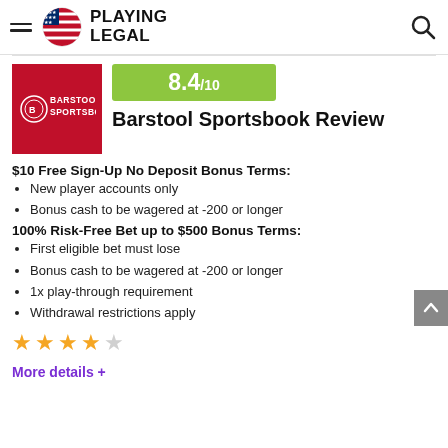PLAYING LEGAL
[Figure (logo): Barstool Sportsbook red logo with circular icon and white text]
Barstool Sportsbook Review
8.4/10
$10 Free Sign-Up No Deposit Bonus Terms:
New player accounts only
Bonus cash to be wagered at -200 or longer
100% Risk-Free Bet up to $500 Bonus Terms:
First eligible bet must lose
Bonus cash to be wagered at -200 or longer
1x play-through requirement
Withdrawal restrictions apply
★★★★☆ (4 out of 5 stars)
More details +